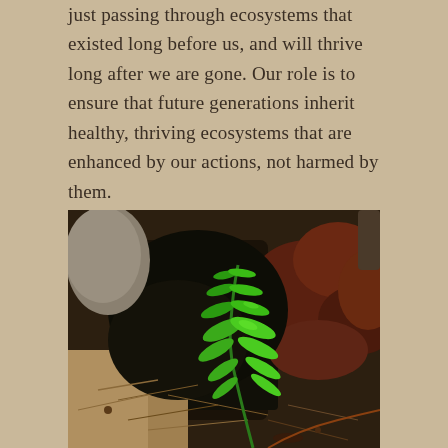just passing through ecosystems that existed long before us, and will thrive long after we are gone. Our role is to ensure that future generations inherit healthy, thriving ecosystems that are enhanced by our actions, not harmed by them.
[Figure (photo): Close-up forest floor photograph showing a bright green fern frond growing amidst dark decomposing organic matter, pine needles, and reddish-brown fallen leaves near a rock or tree base.]